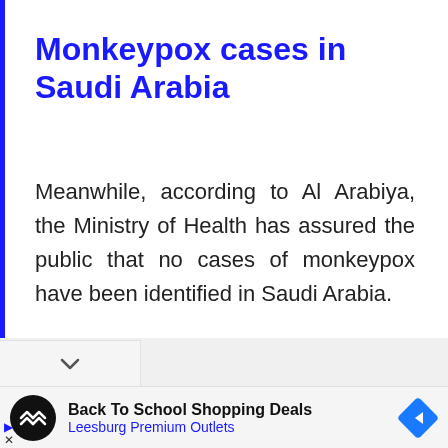Monkeypox cases in Saudi Arabia
Meanwhile, according to Al Arabiya, the Ministry of Health has assured the public that no cases of monkeypox have been identified in Saudi Arabia.
[Figure (other): Collapse chevron button bar]
[Figure (other): Advertisement bar: Back To School Shopping Deals — Leesburg Premium Outlets, with circular logo and blue diamond arrow icon]